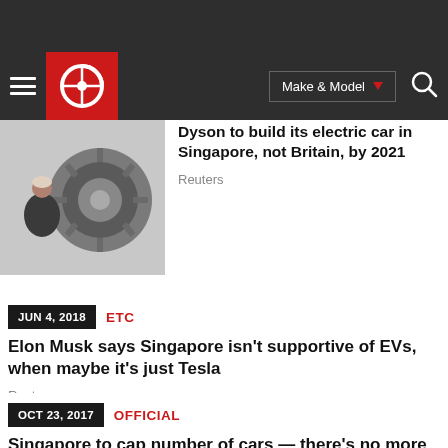Carmudi — navigation bar with logo, Make & Model dropdown, and search icon
Dyson to build its electric car in Singapore, not Britain, by 2021
Reuters
JUN 4, 2018  ETC
Elon Musk says Singapore isn't supportive of EVs, when maybe it's just Tesla
Reuters
OCT 23, 2017  OFFICIAL
Singapore to cap number of cars — there's no more room for them
Reuters